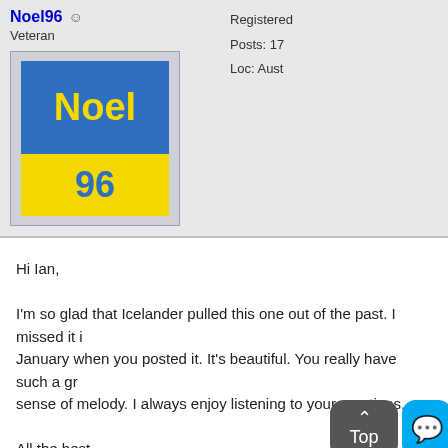Noel96
Veteran
[Figure (illustration): Avatar image with blue top section with yellow text 'Noel' and yellow bottom section with blue text '96']
Registered
Posts: 17
Loc: Aust
Hi Ian,

I'm so glad that Icelander pulled this one out of the past. I missed it in January when you posted it. It's beautiful. You really have such a great sense of melody. I always enjoy listening to your creations.

All the best,
Noel
LINKS TO MY BIAB/RB SONGS